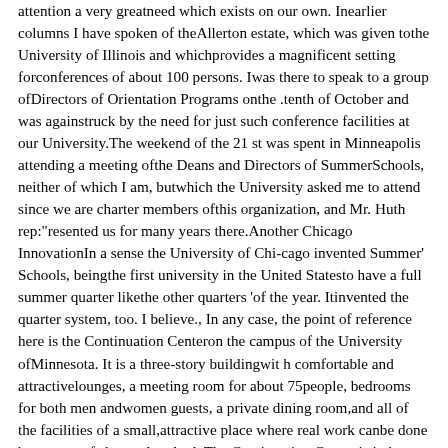attention a very greatneed which exists on our own. Inearlier columns I have spoken of theAllerton estate, which was given tothe University of Illinois and whichprovides a magnificent setting forconferences of about 100 persons. Iwas there to speak to a group ofDirectors of Orientation Programs onthe .tenth of October and was againstruck by the need for just such conference facilities at our University.The weekend of the 21 st was spent in Minneapolis attending a meeting ofthe Deans and Directors of SummerSchools, neither of which I am, butwhich the University asked me to attend since we are charter members ofthis organization, and Mr. Huth rep:"resented us for many years there.Another Chicago InnovationIn a sense the University of Chi-cago invented Summer' Schools, beingthe first university in the United Statesto have a full summer quarter likethe other quarters 'of the year. Itinvented the quarter system, too. I believe., In any case, the point of reference here is the Continuation Centeron the campus of the University ofMinnesota. It is a three-story buildingwit h comfortable and attractivelounges, a meeting room for about 75people, bedrooms for both men andwomen guests, a private dining room,and all of the facilities of a small,attractive place where real work canbe done by groups of about a hundred. The Continuation Center is inthe heart of the campus, only a blockfrom the auditorium where we heardthe opening concert of the Minneapolis Symphony Orchestra Friday night,and only two blocks from the stadiumwhere we saw Minnesota annihilatedby